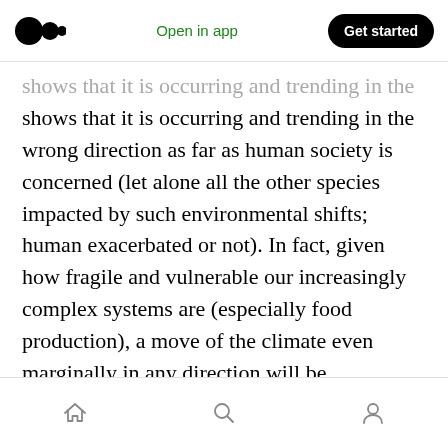Open in app | Get started
shows that it is occurring and trending in the wrong direction as far as human society is concerned (let alone all the other species impacted by such environmental shifts; human exacerbated or not). In fact, given how fragile and vulnerable our increasingly complex systems are (especially food production), a move of the climate even marginally in any direction will be catastrophic for humanity — particularly for regions that do not or cannot produce their own food.
Home | Search | Profile